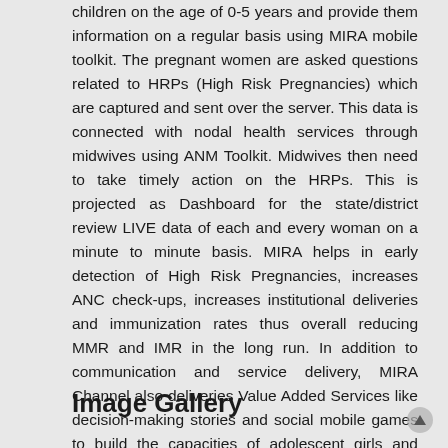children on the age of 0-5 years and provide them information on a regular basis using MIRA mobile toolkit. The pregnant women are asked questions related to HRPs (High Risk Pregnancies) which are captured and sent over the server. This data is connected with nodal health services through midwives using ANM Toolkit. Midwives then need to take timely action on the HRPs. This is projected as Dashboard for the state/district review LIVE data of each and every woman on a minute to minute basis. MIRA helps in early detection of High Risk Pregnancies, increases ANC check-ups, increases institutional deliveries and immunization rates thus overall reducing MMR and IMR in the long run. In addition to communication and service delivery, MIRA Channel also deliveries Value Added Services like decision-making stories and social mobile games to build the capacities of adolescent girls and boys.
Image Gallery